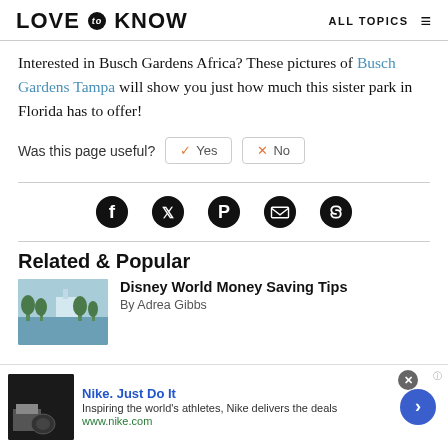LOVE to KNOW  ALL TOPICS
Interested in Busch Gardens Africa? These pictures of Busch Gardens Tampa will show you just how much this sister park in Florida has to offer!
Was this page useful?  Yes  No
[Figure (infographic): Social share icons: Facebook, Twitter, Pinterest, Email, Link]
Related & Popular
[Figure (photo): Disney World themed image with palm trees and buildings]
Disney World Money Saving Tips
By Adrea Gibbs
Nike. Just Do It
Inspiring the world's athletes, Nike delivers the deals
www.nike.com